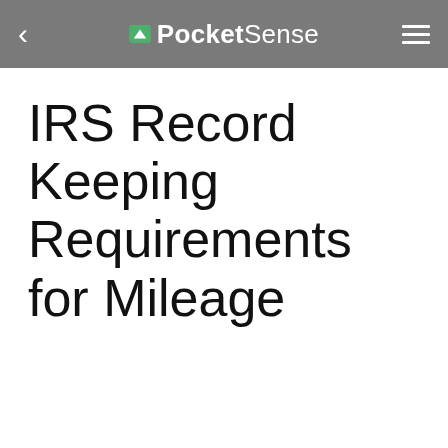PocketSense
IRS Record Keeping Requirements for Mileage